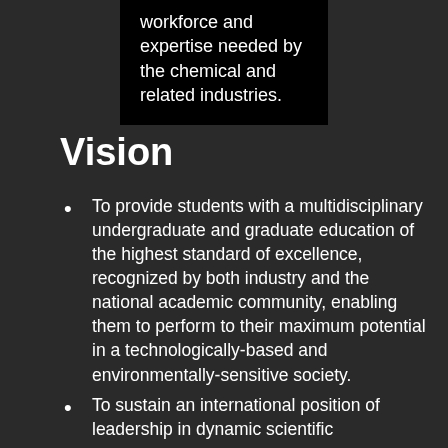workforce and expertise needed by the chemical and related industries.
Vision
To provide students with a multidisciplinary undergraduate and graduate education of the highest standard of excellence, recognized by both industry and the national academic community, enabling them to perform to their maximum potential in a technologically-based and environmentally-sensitive society.
To sustain an international position of leadership in dynamic scientific